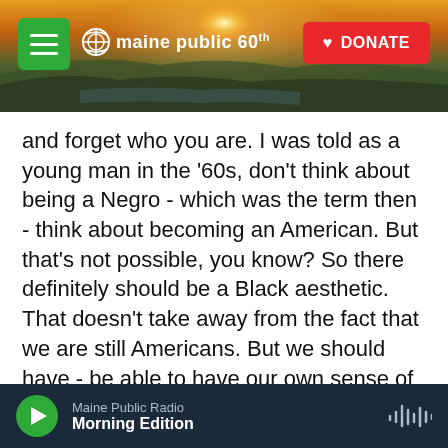[Figure (screenshot): Maine Public Radio website header with navigation menu button, Maine Public 60th anniversary logo, and red Donate button over a landscape photo showing sunrise over hills and water]
and forget who you are. I was told as a young man in the '60s, don't think about being a Negro - which was the term then - think about becoming an American. But that's not possible, you know? So there definitely should be a Black aesthetic. That doesn't take away from the fact that we are still Americans. But we should have - be able to have our own sense of identity.
MARTIN: To that end, can you explain the significance of the Studio Museum in New York and what it was? I mean, was it - just its existence, was it an end in and of itself or a platform to some wider
Maine Public Radio
Morning Edition